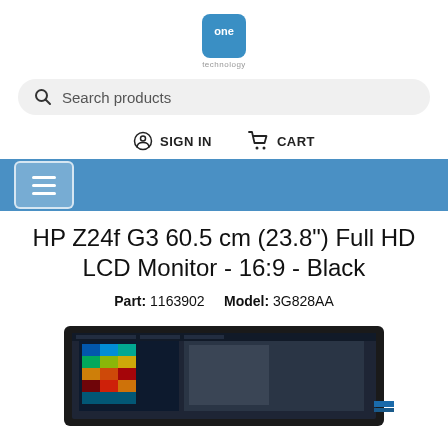[Figure (logo): One Technology logo: blue rounded square icon with 'one' text inside, and 'technology' label below]
Search products
SIGN IN   CART
[Figure (other): Blue navigation bar with hamburger menu button]
HP Z24f G3 60.5 cm (23.8") Full HD LCD Monitor - 16:9 - Black
Part: 1163902   Model: 3G828AA
[Figure (photo): HP monitor product photo showing the screen at an angle displaying a colorful dashboard interface]